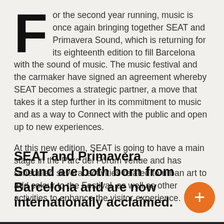For the second year running, music is once again bringing together SEAT and Primavera Sound, which is returning for its eighteenth edition to fill Barcelona with the sound of music. The music festival and the carmaker have signed an agreement whereby SEAT becomes a strategic partner, a move that takes it a step further in its commitment to music and as a way to Connect with the public and open up to new experiences.
At this new edition, SEAT is going to have a main stage in the Parc del Fòrum venue and has scheduled several activities related to urban art to add colour to the Festival, as well as other activities to enhance the visitor experience.
SEAT and Primavera Sound are both born from Barcelona and are now internationally acclaimed.